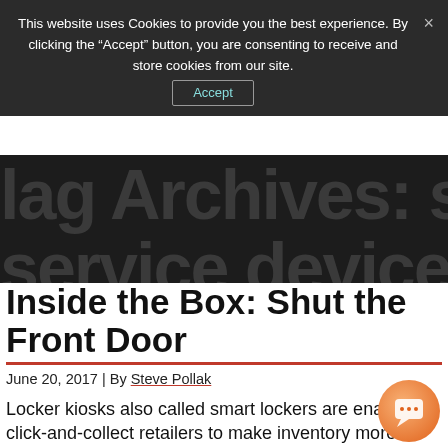This website uses Cookies to provide you the best experience. By clicking the “Accept” button, you are consenting to receive and store cookies from our site.
lag Archives: self-service devices
Inside the Box: Shut the Front Door
June 20, 2017 | By Steve Pollak
Locker kiosks also called smart lockers are enabling click-and-collect retailers to make inventory more accessible and easier to tr... It’s a bigger market than you think and gr... It doesn’t seem that long ago when I first read